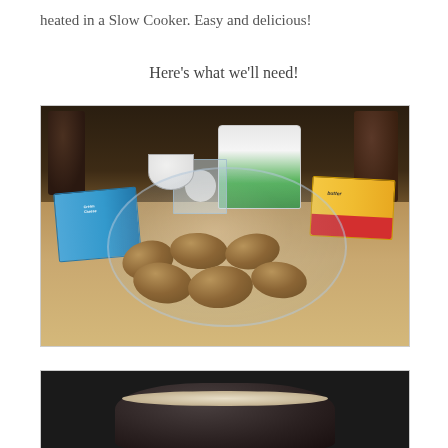heated in a Slow Cooker. Easy and delicious!
Here's what we'll need!
[Figure (photo): Ingredients on a kitchen counter: potatoes in a glass bowl, cream cheese box, sour cream container, butter box, measuring cup, and small seasoning bowl]
[Figure (photo): Mashed potatoes in a slow cooker, partially visible at bottom of page]